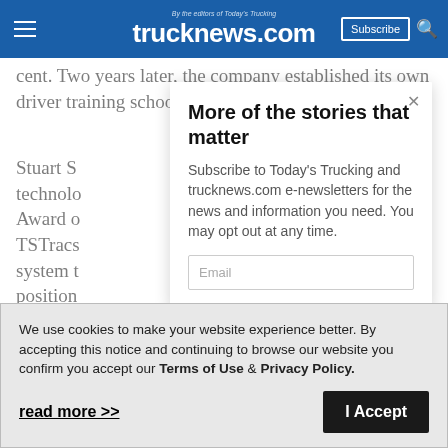trucknews.com — By the editors of Today's Trucking
cent. Two years later, the company established its own driver training school.
Stuart S... technology... Award o... TSTracs... system t... position...
More of the stories that matter
Subscribe to Today's Trucking and trucknews.com e-newsletters for the news and information you need. You may opt out at any time.
Email
We use cookies to make your website experience better. By accepting this notice and continuing to browse our website you confirm you accept our Terms of Use & Privacy Policy.
read more >>
I Accept